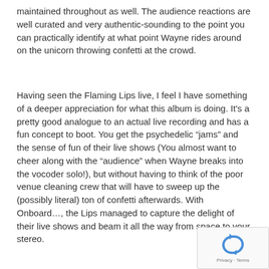maintained throughout as well. The audience reactions are well curated and very authentic-sounding to the point you can practically identify at what point Wayne rides around on the unicorn throwing confetti at the crowd.
Having seen the Flaming Lips live, I feel I have something of a deeper appreciation for what this album is doing. It's a pretty good analogue to an actual live recording and has a fun concept to boot. You get the psychedelic “jams” and the sense of fun of their live shows (You almost want to cheer along with the “audience” when Wayne breaks into the vocoder solo!), but without having to think of the poor venue cleaning crew that will have to sweep up the (possibly literal) ton of confetti afterwards. With Onboard…, the Lips managed to capture the delight of their live shows and beam it all the way from space to your stereo.
[Figure (other): reCAPTCHA widget showing a refresh/recaptcha icon and Privacy - Terms text]